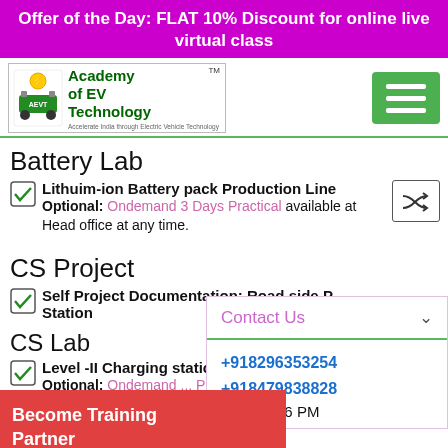Offer of the Day: FLAT 10% Discount for online live virtual class
[Figure (logo): Academy of EV Technology logo with green car icon and AEVT branding]
Battery Lab
Lithuim-ion Battery pack Production Line
Optional: Ondemand 3 Days Practical available at Head office at any time.
CS Project
Self Project Documentation: Road side P... Station
CS Lab
Level -II Charging station Installation
Optional: Ondemand ... Practical available at Head office at
Contact Us
+918296353254
+918479838828
11 AM to 6 PM
Become Training Partner